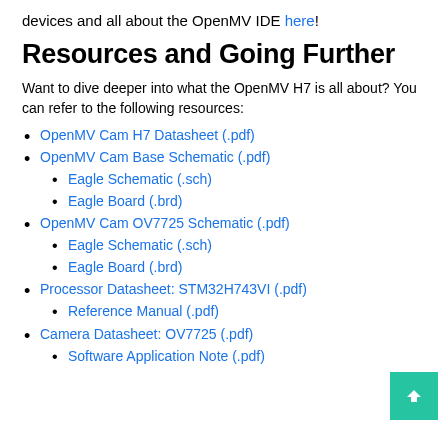devices and all about the OpenMV IDE here!
Resources and Going Further
Want to dive deeper into what the OpenMV H7 is all about? You can refer to the following resources:
OpenMV Cam H7 Datasheet (.pdf)
OpenMV Cam Base Schematic (.pdf)
Eagle Schematic (.sch)
Eagle Board (.brd)
OpenMV Cam OV7725 Schematic (.pdf)
Eagle Schematic (.sch)
Eagle Board (.brd)
Processor Datasheet: STM32H743VI (.pdf)
Reference Manual (.pdf)
Camera Datasheet: OV7725 (.pdf)
Software Application Note (.pdf)